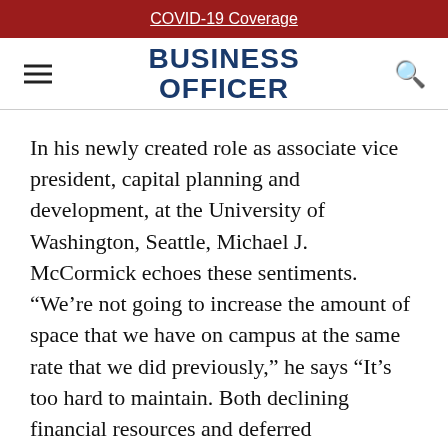COVID-19 Coverage
[Figure (logo): Business Officer magazine logo with hamburger menu and search icon]
In his newly created role as associate vice president, capital planning and development, at the University of Washington, Seattle, Michael J. McCormick echoes these sentiments. “We’re not going to increase the amount of space that we have on campus at the same rate that we did previously,” he says “It’s too hard to maintain. Both declining financial resources and deferred maintenance can be addressed if we use our existing space